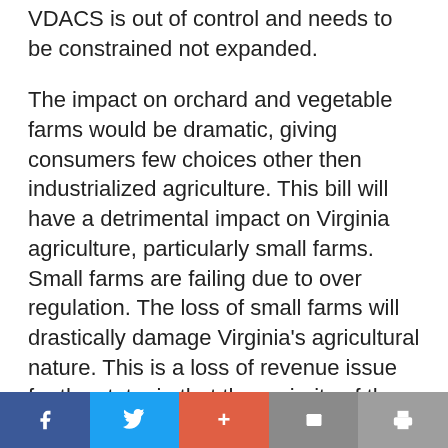VDACS is out of control and needs to be constrained not expanded.
The impact on orchard and vegetable farms would be dramatic, giving consumers few choices other then industrialized agriculture. This bill will have a detrimental impact on Virginia agriculture, particularly small farms. Small farms are failing due to over regulation. The loss of small farms will drastically damage Virginia’s agricultural nature. This is a loss of revenue issue for the state, in that the majority of the industrialized food industry is not based in Virginia.
Social share bar: Facebook, Twitter, Google+, Email, Print